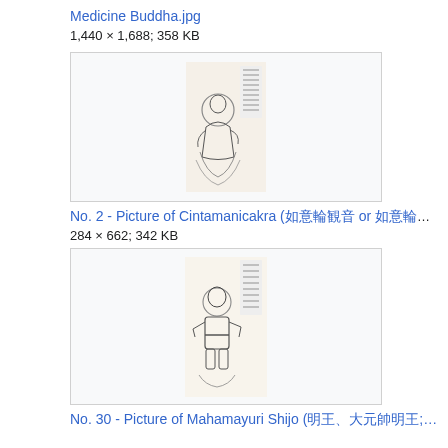Medicine Buddha.jpg
1,440 × 1,688; 358 KB
[Figure (illustration): Black and white line drawing of a Buddhist deity (Cintamanicakra) standing on clouds, with a halo, wearing flowing robes, with Chinese text/calligraphy in the upper right corner.]
No. 2 - Picture of Cintamanicakra (如意輪観音 or 如意輪觀音; Ruyilun …
284 × 662; 342 KB
[Figure (illustration): Black and white line drawing of a robust Buddhist warrior/guardian figure standing, with Chinese text in the upper right corner, against a light background.]
No. 30 - Picture of Mahamayuri Shijo (明王、大元帥明王; )...